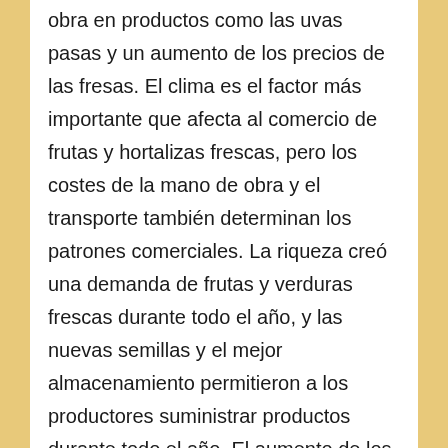obra en productos como las uvas pasas y un aumento de los precios de las fresas. El clima es el factor más importante que afecta al comercio de frutas y hortalizas frescas, pero los costes de la mano de obra y el transporte también determinan los patrones comerciales. La riqueza creó una demanda de frutas y verduras frescas durante todo el año, y las nuevas semillas y el mejor almacenamiento permitieron a los productores suministrar productos durante todo el año. El aumento de los salarios puede impulsar la mecanización que ahorra mano de obra en lugar de aumentar las importaciones. Las hortalizas están mucho